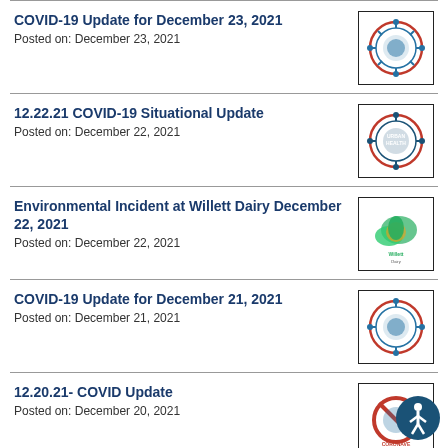COVID-19 Update for December 23, 2021
Posted on: December 23, 2021
12.22.21 COVID-19 Situational Update
Posted on: December 22, 2021
Environmental Incident at Willett Dairy December 22, 2021
Posted on: December 22, 2021
COVID-19 Update for December 21, 2021
Posted on: December 21, 2021
12.20.21- COVID Update
Posted on: December 20, 2021
12.17.2021 - COVID Update